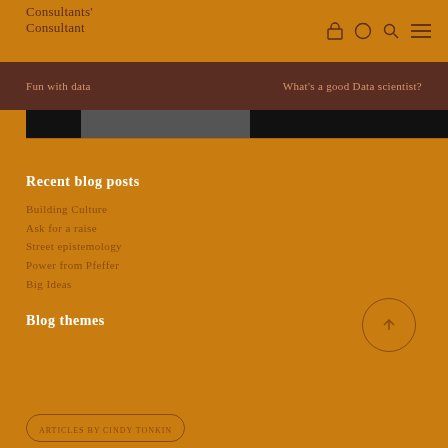Consultants' Consultant
Fun with data
What's a good Data scientist?
[Figure (photo): Dark horizontal image strip, appears to be a photographic banner]
Recent blog posts
Building Culture
Ask for a raise
Street epistemology
Power from Pfeffer
Big Ideas
Blog themes
ARTICLES BY CINDY TONKIN